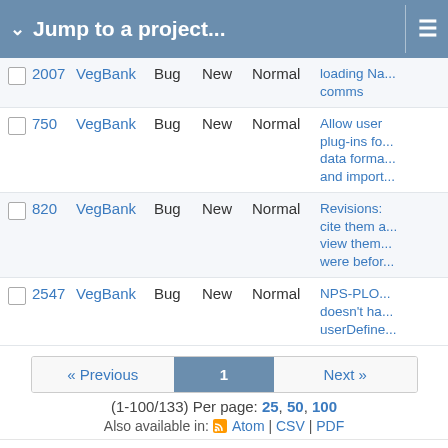Jump to a project...
|  | # | Project | Tracker | Status | Priority | Subject |
| --- | --- | --- | --- | --- | --- | --- |
|  | 2007 | VegBank | Bug | New | Normal | loading Na... comms |
|  | 750 | VegBank | Bug | New | Normal | Allow user plug-ins fo... data forma... and import... |
|  | 820 | VegBank | Bug | New | Normal | Revisions: cite them a... view them... were befor... |
|  | 2547 | VegBank | Bug | New | Normal | NPS-PLO... doesn't ha... userDefine... |
« Previous  1  Next »
(1-100/133) Per page: 25, 50, 100
Also available in: Atom | CSV | PDF
Powered by Redmine © 2006-2019 Jean-Philippe Lang